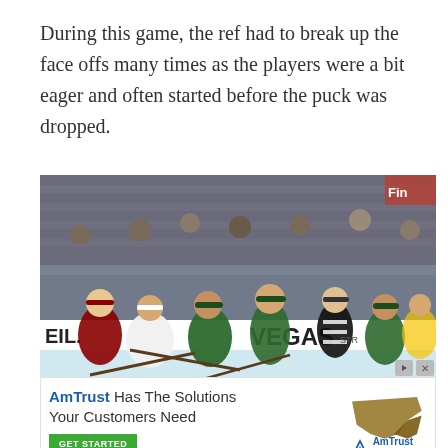During this game, the ref had to break up the face offs many times as the players were a bit eager and often started before the puck was dropped.
[Figure (photo): Ice hockey game photo showing players in a face-off situation. Players in green (Vermont) and maroon/white (Minnesota) jerseys are clustered around a referee. Rinkside advertising boards visible including 'EIL', 'VEGAS', 'EGAS'. Spectators visible in background stands.]
[Figure (infographic): AmTrust Insurance advertisement. Text reads 'AmTrust Has The Solutions Your Customers Need' with a green 'GET STARTED' button and AmTrust Insurance logo alongside a map silhouette graphic.]